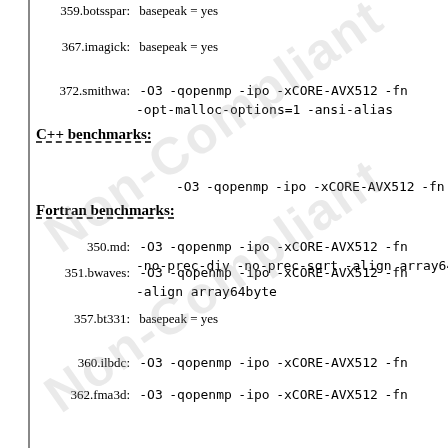359.botsspar: basepeak = yes
367.imagick: basepeak = yes
372.smithwa: -O3 -qopenmp -ipo -xCORE-AVX512 -fn ... -opt-malloc-options=1 -ansi-alias
C++ benchmarks:
-O3 -qopenmp -ipo -xCORE-AVX512 -fn...
Fortran benchmarks:
350.md: -O3 -qopenmp -ipo -xCORE-AVX512 -fn... -no-prec-div -no-prec-sqrt -align array64byte...
351.bwaves: -O3 -qopenmp -ipo -xCORE-AVX512 -fn... -align array64byte
357.bt331: basepeak = yes
360.ilbdc: -O3 -qopenmp -ipo -xCORE-AVX512 -fn...
362.fma3d: -O3 -qopenmp -ipo -xCORE-AVX512 -fn...